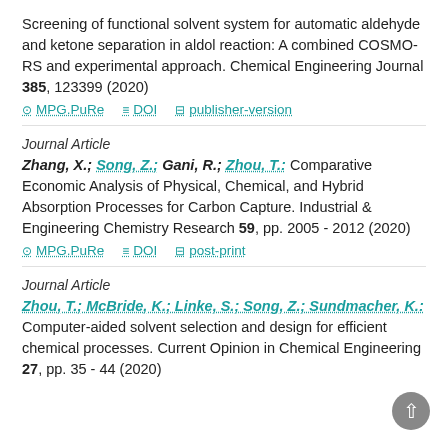Screening of functional solvent system for automatic aldehyde and ketone separation in aldol reaction: A combined COSMO-RS and experimental approach. Chemical Engineering Journal 385, 123399 (2020)
MPG.PuRe | DOI | publisher-version
Journal Article
Zhang, X.; Song, Z.; Gani, R.; Zhou, T.: Comparative Economic Analysis of Physical, Chemical, and Hybrid Absorption Processes for Carbon Capture. Industrial & Engineering Chemistry Research 59, pp. 2005 - 2012 (2020)
MPG.PuRe | DOI | post-print
Journal Article
Zhou, T.; McBride, K.; Linke, S.; Song, Z.; Sundmacher, K.: Computer-aided solvent selection and design for efficient chemical processes. Current Opinion in Chemical Engineering 27, pp. 35 - 44 (2020)